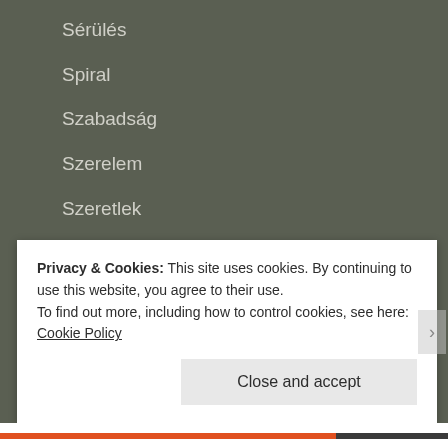Sérülés
Spiral
Szabadság
Szerelem
Szeretlek
Tökéletes
Teória
Test es lelek
The puzzle of my life
Privacy & Cookies: This site uses cookies. By continuing to use this website, you agree to their use.
To find out more, including how to control cookies, see here: Cookie Policy
Close and accept